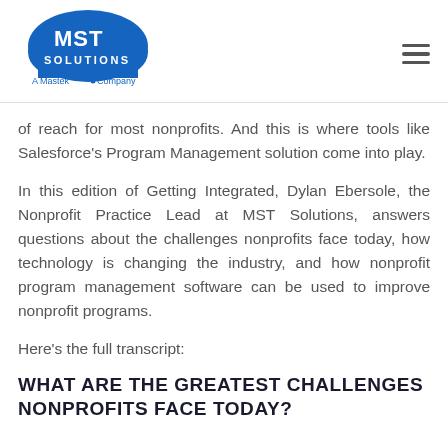[Figure (logo): MST Solutions logo - cloud shape with MST text and 'A Mastek Company' tagline]
of reach for most nonprofits. And this is where tools like Salesforce's Program Management solution come into play.
In this edition of Getting Integrated, Dylan Ebersole, the Nonprofit Practice Lead at MST Solutions, answers questions about the challenges nonprofits face today, how technology is changing the industry, and how nonprofit program management software can be used to improve nonprofit programs.
Here's the full transcript:
WHAT ARE THE GREATEST CHALLENGES NONPROFITS FACE TODAY?